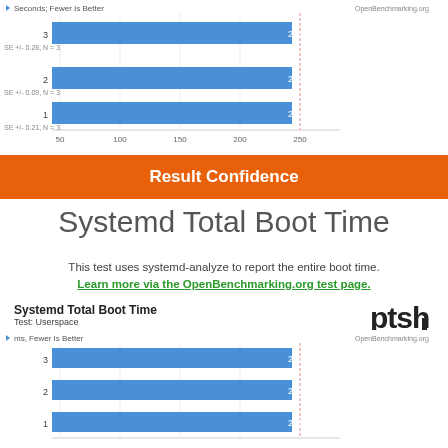[Figure (bar-chart): Seconds, Fewer Is Better]
Result Confidence
Systemd Total Boot Time
This test uses systemd-analyze to report the entire boot time.
Learn more via the OpenBenchmarking.org test page.
Systemd Total Boot Time
Test: Userspace
[Figure (bar-chart): ms, Fewer Is Better]